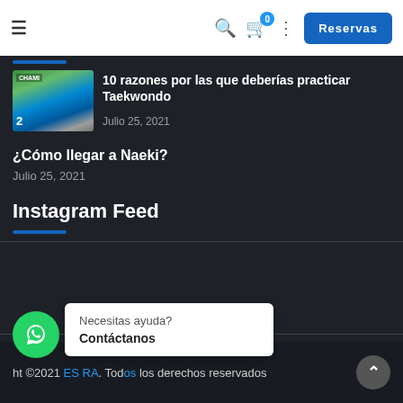Navigation bar with hamburger menu, search, cart (0), dots menu, and Reservas button
[Figure (screenshot): Thumbnail image of a Taekwondo championship match]
10 razones por las que deberías practicar Taekwondo
Julio 25, 2021
¿Cómo llegar a Naeki?
Julio 25, 2021
Instagram Feed
ht ©2021 ES RA. Todos los derechos reservados
Necesitas ayuda? Contáctanos